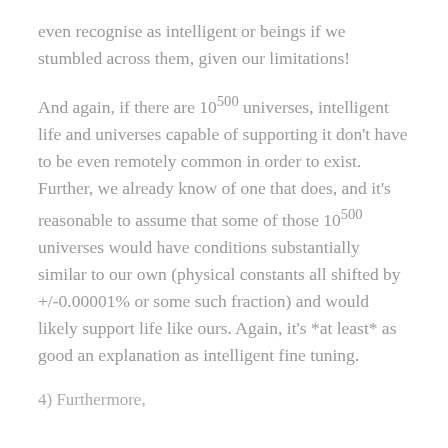even recognise as intelligent or beings if we stumbled across them, given our limitations!
And again, if there are 10^500 universes, intelligent life and universes capable of supporting it don't have to be even remotely common in order to exist. Further, we already know of one that does, and it's reasonable to assume that some of those 10^500 universes would have conditions substantially similar to our own (physical constants all shifted by +/-0.00001% or some such fraction) and would likely support life like ours. Again, it's *at least* as good an explanation as intelligent fine tuning.
4) Furthermore, ...